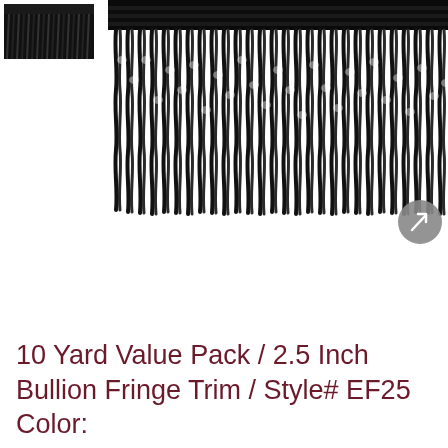[Figure (photo): Small thumbnail image of black bullion fringe trim fabric swatch]
[Figure (photo): Close-up photo of black bullion fringe trim showing twisted rope-like strands hanging down with a woven header at the top. A gray circular expand/zoom button appears in the lower right corner.]
10 Yard Value Pack / 2.5 Inch Bullion Fringe Trim / Style# EF25 Color: